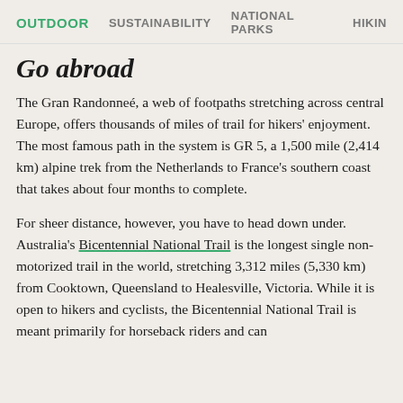OUTDOOR   SUSTAINABILITY   NATIONAL PARKS   HIKING
Go abroad
The Gran Randonneé, a web of footpaths stretching across central Europe, offers thousands of miles of trail for hikers' enjoyment. The most famous path in the system is GR 5, a 1,500 mile (2,414 km) alpine trek from the Netherlands to France's southern coast that takes about four months to complete.
For sheer distance, however, you have to head down under. Australia's Bicentennial National Trail is the longest single non-motorized trail in the world, stretching 3,312 miles (5,330 km) from Cooktown, Queensland to Healesville, Victoria. While it is open to hikers and cyclists, the Bicentennial National Trail is meant primarily for horseback riders and can